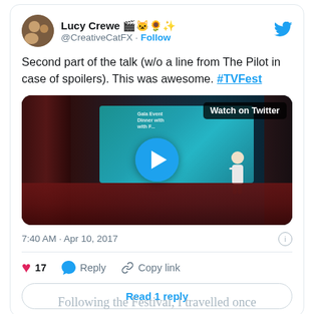[Figure (screenshot): Twitter/social media post by Lucy Crewe (@CreativeCatFX) with tweet text, embedded video thumbnail with play button, timestamp, like/reply/copy-link actions, and 'Read 1 reply' button.]
Following the Festival, I travelled once